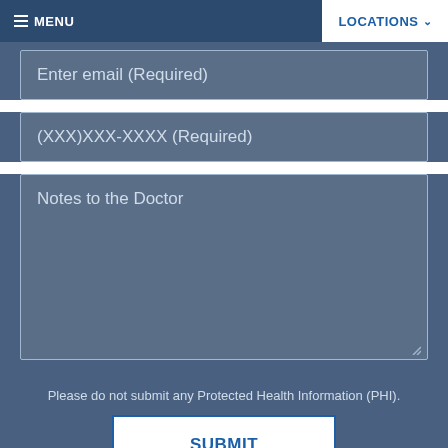MENU | LOCATIONS
Enter email (Required)
(XXX)XXX-XXXX (Required)
Notes to the Doctor
Please do not submit any Protected Health Information (PHI).
SUBMIT
[Figure (logo): Accessibility wheelchair icon in blue circle]
LOCATIONS
Find us on the map